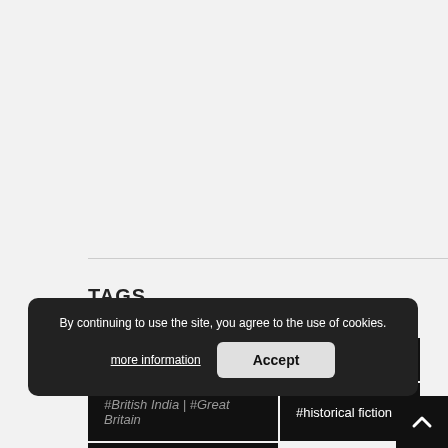TAGS
#A God in Every Stone
#book
#British India | #Great Britain
#historical fiction
#India
By continuing to use the site, you agree to the use of cookies.
more information
Accept